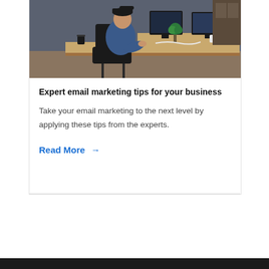[Figure (photo): Person in denim jacket sitting at a desk in an open office, working at a computer with multiple monitors and other workstations visible in the background.]
Expert email marketing tips for your business
Take your email marketing to the next level by applying these tips from the experts.
Read More →